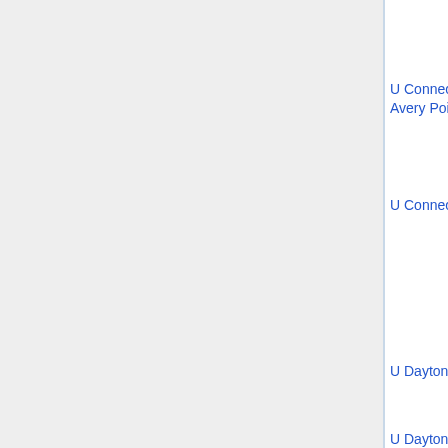| Institution | Field | Date | Names |
| --- | --- | --- | --- |
|  |  |  | Medve...
Mia Mi... |
| U Connecticut, Avery Point* | PDE | Dec 1 | Jeffery...
Conno...
Shun Z... |
| U Connecticut* | stoch proc (u) | Dec 1 | Solesm...
Bourgu...
Alexan...
Chrone...
Oren L... |
| U Dayton* | alg, comp math (u) | Jan 18 |  |
| U Dayton* | finance (u) | Dec 1 |  |
| U Denver* | various (u) | Dec 1 | Paul H...
Andre...
Linsha...
Yin |
| U Georgia* | analysis (u) | Nov 11 | Christi...
Breine...
Spyrid...
Dendri...
Patrick... |